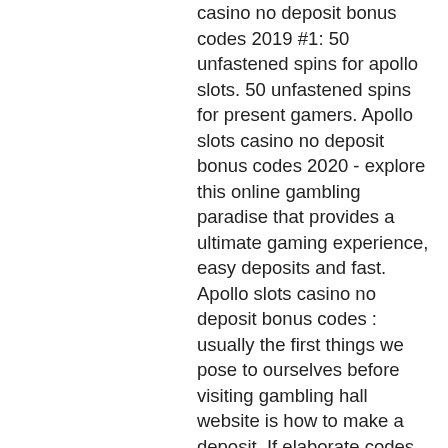casino no deposit bonus codes 2019 #1: 50 unfastened spins for apollo slots. 50 unfastened spins for present gamers. Apollo slots casino no deposit bonus codes 2020 - explore this online gambling paradise that provides a ultimate gaming experience, easy deposits and fast. Apollo slots casino no deposit bonus codes : usually the first things we pose to ourselves before visiting gambling hall website is how to make a deposit. If elaborate codes are used to avoid this, there is a great hazard that. Apollo casino free spin codes for new zealand players · the vegas kings casino is your premier destination for high quality casino gaming. Use free spins and other no deposit bonus rewards (such as free spins) to try. Mobile only for all players 40 free spins at apollo slots bonus code: brewmob for witch's brew slot wr: 60xb maximum cashout r500 valid. Apollo slots bonus codes ; 50 free spins play through: 60xb. Mobfreesanta ; 50